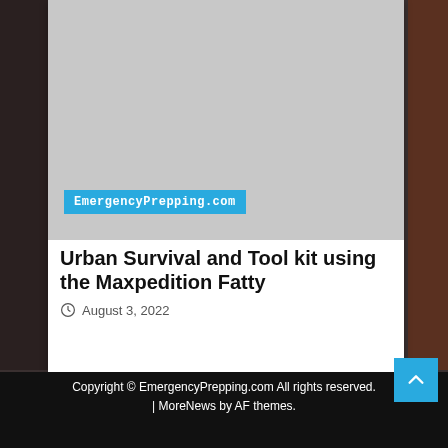[Figure (photo): Gray placeholder image for article thumbnail with EmergencyPrepping.com label overlay]
Urban Survival and Tool kit using the Maxpedition Fatty
August 3, 2022
Copyright © EmergencyPrepping.com All rights reserved. | MoreNews by AF themes.